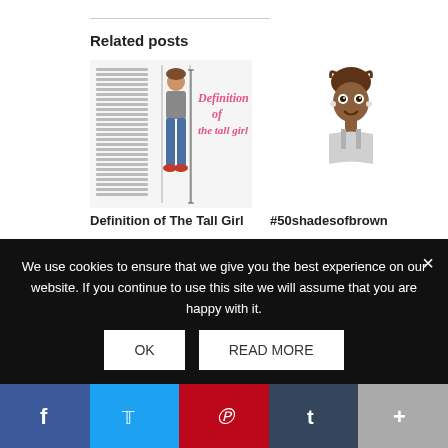Related posts
[Figure (illustration): Illustration: 'Definition of the Tall Girl' - a tall girl standing with measurement lines and pink cursive text]
Definition of The Tall Girl
[Figure (illustration): Cartoon illustration of a brown-skinned girl with hair bun, smiling]
#50shadesofbrown
[Figure (illustration): Illustration: 'Tall Girls Talk' - two girls sitting on a couch, pink cursive text above]
We use cookies to ensure that we give you the best experience on our website. If you continue to use this site we will assume that you are happy with it.
OK
READ MORE